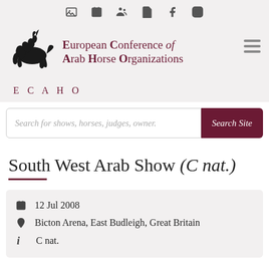ECAHO — European Conference of Arab Horse Organizations — navigation icons and logo header
Search for shows, horses, judges, owner.
South West Arab Show (C nat.)
12 Jul 2008
Bicton Arena, East Budleigh, Great Britain
C nat.